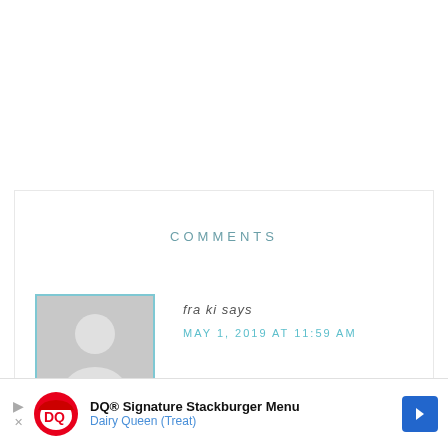COMMENTS
fra ki says
MAY 1, 2019 AT 11:59 AM
[Figure (photo): Default avatar placeholder image — grey background with white silhouette of a person, surrounded by a cyan/teal border]
DQ® Signature Stackburger Menu
Dairy Queen (Treat)